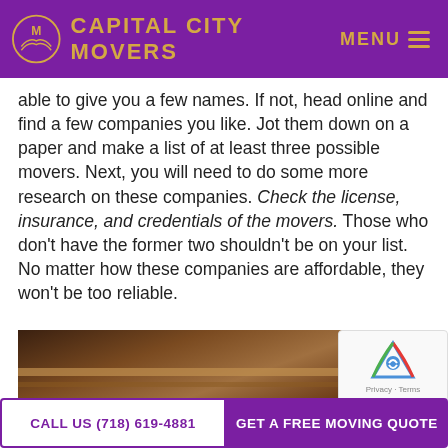CAPITAL CITY MOVERS
able to give you a few names. If not, head online and find a few companies you like. Jot them down on a paper and make a list of at least three possible movers. Next, you will need to do some more research on these companies. Check the license, insurance, and credentials of the movers. Those who don’t have the former two shouldn’t be on your list. No matter how these companies are affordable, they won’t be too reliable.
[Figure (photo): Photo of wooden crates or boxes, brown tones, close-up of moving boxes]
CALL US (718) 619-4881 | GET A FREE MOVING QUOTE